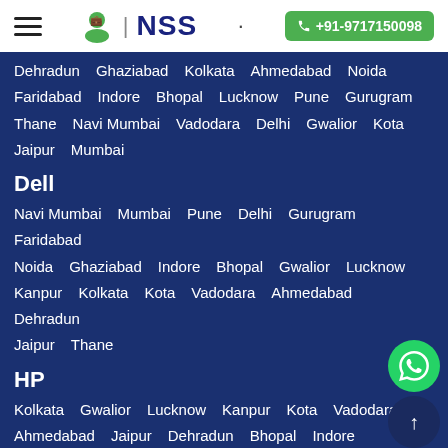NSS | +91-9717150098
Dehradun  Ghaziabad  Kolkata  Ahmedabad  Noida  Faridabad  Indore  Bhopal  Lucknow  Pune  Gurugram  Thane  Navi Mumbai  Vadodara  Delhi  Gwalior  Kota  Jaipur  Mumbai
Dell
Navi Mumbai  Mumbai  Pune  Delhi  Gurugram  Faridabad  Noida  Ghaziabad  Indore  Bhopal  Gwalior  Lucknow  Kanpur  Kolkata  Kota  Vadodara  Ahmedabad  Dehradun  Jaipur  Thane
HP
Kolkata  Gwalior  Lucknow  Kanpur  Kota  Vadodara  Ahmedabad  Jaipur  Dehradun  Bhopal  Indore  Ghaziabad  Noida  Faridabad  Gurugram  Delhi  Pune  Mumbai  Navi Mumbai  Thane